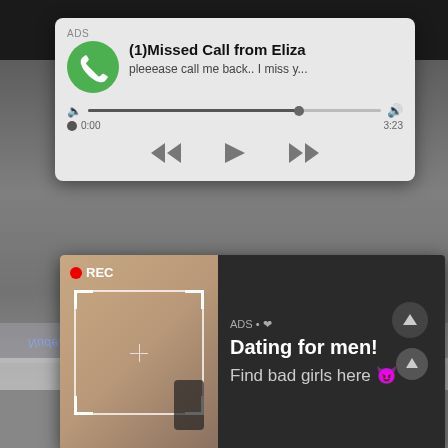non.
[Figure (screenshot): Mobile notification card showing a fake missed call ad. Green phone icon, label 'ADS', title '(1)Missed Call from Eliza', subtitle 'pleeease call me back.. I miss y...', with an audio player bar showing time 0:00 to 3:23 and playback controls (rewind, play, fast-forward).]
[Figure (screenshot): Dark ad banner showing a woman taking a mirror selfie with a recording viewfinder overlay and REC indicator. Text reads: 'ADS • ❤ Dating for men! Find bad girls here 😈']
NudeBollywoodPics.in (reflected/mirrored)
Fake (mirrored watermark)